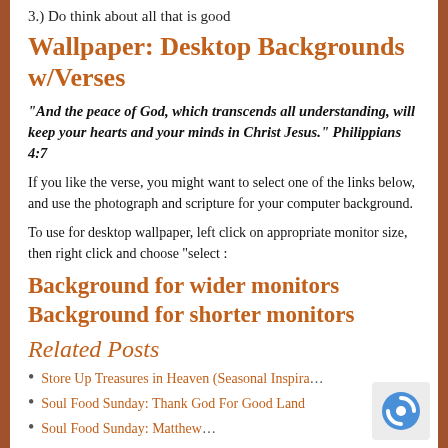3.) Do think about all that is good
Wallpaper: Desktop Backgrounds w/Verses
“And the peace of God, which transcends all understanding, will keep your hearts and your minds in Christ Jesus.” Philippians 4:7
If you like the verse, you might want to select one of the links below, and use the photograph and scripture for your computer background.
To use for desktop wallpaper, left click on appropriate monitor size, then right click and choose “select :
Background for wider monitors
Background for shorter monitors
Related Posts
Store Up Treasures in Heaven (Seasonal Inspira...
Soul Food Sunday: Thank God For Good Land
Soul Food Sunday: Matthew...